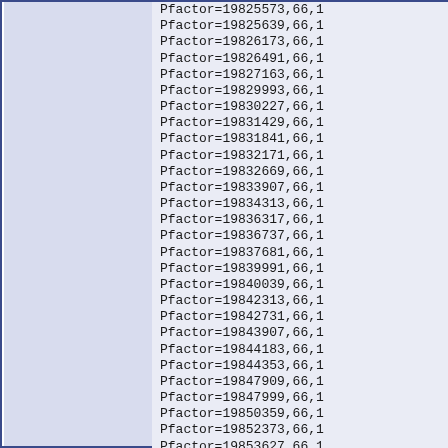Pfactor=19825573,66,1
Pfactor=19825639,66,1
Pfactor=19826173,66,1
Pfactor=19826491,66,1
Pfactor=19827163,66,1
Pfactor=19829993,66,1
Pfactor=19830227,66,1
Pfactor=19831429,66,1
Pfactor=19831841,66,1
Pfactor=19832171,66,1
Pfactor=19832669,66,1
Pfactor=19833907,66,1
Pfactor=19834313,66,1
Pfactor=19836317,66,1
Pfactor=19836737,66,1
Pfactor=19837681,66,1
Pfactor=19839991,66,1
Pfactor=19840039,66,1
Pfactor=19842313,66,1
Pfactor=19842731,66,1
Pfactor=19843907,66,1
Pfactor=19844183,66,1
Pfactor=19844353,66,1
Pfactor=19847909,66,1
Pfactor=19847999,66,1
Pfactor=19850359,66,1
Pfactor=19852373,66,1
Pfactor=19853627,66,1
Pfactor=19854049,66,1
Pfactor=19854061,66,1
Pfactor=19854141,66,1